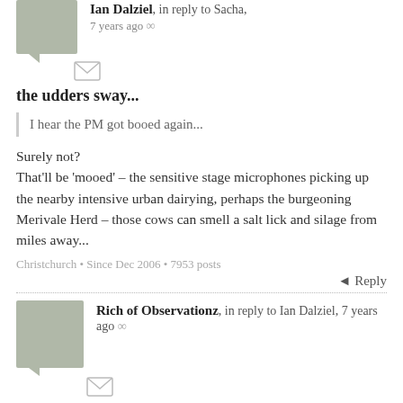Ian Dalziel, in reply to Sacha, 7 years ago
the udders sway...
I hear the PM got booed again...
Surely not?
That'll be ‘mooed’ – the sensitive stage microphones picking up the nearby intensive urban dairying, perhaps the burgeoning Merivale Herd – those cows can smell a salt lick and silage from miles away...
Christchurch • Since Dec 2006 • 7953 posts
Reply
Rich of Observationz, in reply to Ian Dalziel, 7 years ago
the fireworks I saw on the horizon weren't on the telly simultaneously
C’mon Ian, you don’t think what happens on the